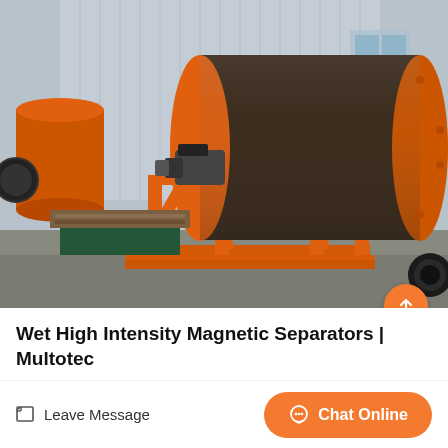[Figure (photo): Industrial wet high intensity magnetic separator machine with large orange cylindrical drum on an orange metal frame, photographed in a factory/yard setting. Multiple similar units visible in background.]
Wet High Intensity Magnetic Separators | Multotec
Leave Message
Chat Online